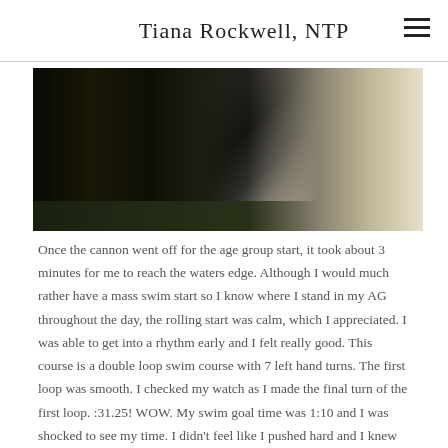Tiana Rockwell, NTP
[Figure (photo): Athletes in black wetsuits and a person in a white long-sleeve shirt standing outdoors on grass before a triathlon swim start]
Once the cannon went off for the age group start, it took about 3 minutes for me to reach the waters edge. Although I would much rather have a mass swim start so I know where I stand in my AG throughout the day, the rolling start was calm, which I appreciated. I was able to get into a rhythm early and I felt really good. This course is a double loop swim course with 7 left hand turns. The first loop was smooth. I checked my watch as I made the final turn of the first loop. :31.25! WOW. My swim goal time was 1:10 and I was shocked to see my time. I didn't feel like I pushed hard and I knew that if I stayed focused, I